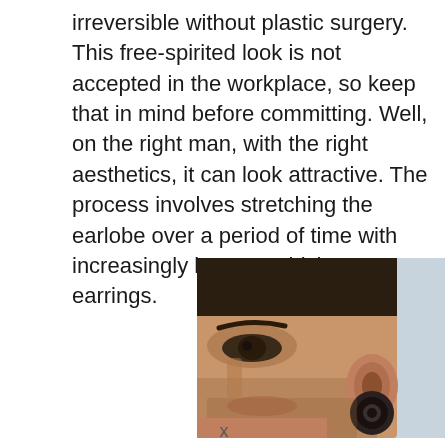irreversible without plastic surgery. This free-spirited look is not accepted in the workplace, so keep that in mind before committing. Well, on the right man, with the right aesthetics, it can look attractive. The process involves stretching the earlobe over a period of time with increasingly larger or thicker earrings.
[Figure (photo): Close-up photo of a man's face showing his ear with a large gauge/tunnel earring (ear stretching plug). The man has short buzzed dark hair, visible stubble on his chin, and dark eyes. The background is light blue/white. The ear gauge is dark colored, large circular tunnel plug.]
x